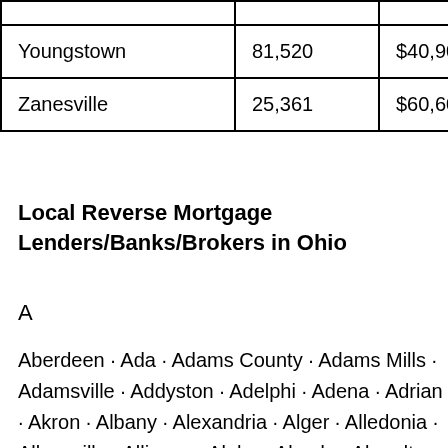| City | Population | Median Home Value | ... |
| --- | --- | --- | --- |
|  |  |  |  |
| Youngstown | 81,520 | $40,900 | 64 |
| Zanesville | 25,361 | $60,600 | 55 |
Local Reverse Mortgage Lenders/Banks/Brokers in Ohio
A
Aberdeen · Ada · Adams County · Adams Mills · Adamsville · Addyston · Adelphi · Adena · Adrian · Akron · Albany · Alexandria · Alger · Alledonia · Allensville · Alliance · Alpha · Alvada · Alvordton · Amanda · Amberley · Amelia ·